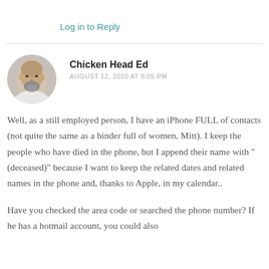Log in to Reply
[Figure (photo): Circular avatar photo of a bald man with a gray beard wearing a white shirt]
Chicken Head Ed
AUGUST 12, 2020 AT 8:05 PM
Well, as a still employed person, I have an iPhone FULL of contacts (not quite the same as a binder full of women, Mitt). I keep the people who have died in the phone, but I append their name with “(deceased)” because I want to keep the related dates and related names in the phone and, thanks to Apple, in my calendar..
Have you checked the area code or searched the phone number? If he has a hotmail account, you could also